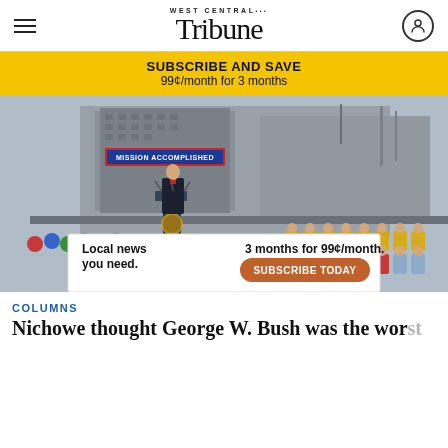West Central Tribune
[Figure (infographic): Yellow subscription banner: SUBSCRIBE AND SAVE 99¢/month for 3 months]
[Figure (photo): George W. Bush speaking at a podium on an aircraft carrier with a 'Mission Accomplished' banner visible in the background, surrounded by military personnel]
COLUMNS
Nicho... we thought George W. Bush was the worst